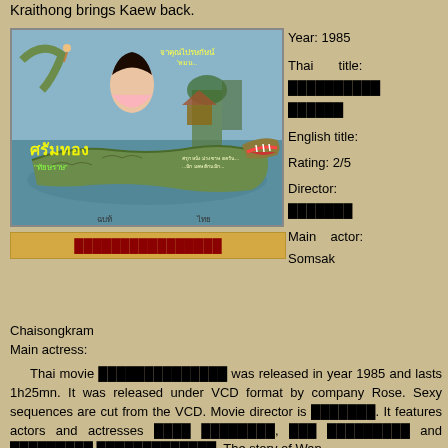Kraithong brings Kaew back.
[Figure (photo): Thai movie poster showing a large crocodile with open jaws and a woman figure above, colorful painted poster style]
Thai title in Thai script
Year: 1985
Thai title: Thai script
English title:
Rating: 2/5
Director: Thai script
Main actor: Somsak Chaisongkram
Main actress:
Thai movie Thai-script was released in year 1985 and lasts 1h25mn. It was released under VCD format by company Rose. Sexy sequences are cut from the VCD. Movie director is Thai-script. It features actors and actresses Thai-script, Thai-script and Thai-script Thai-script. The story of Wan